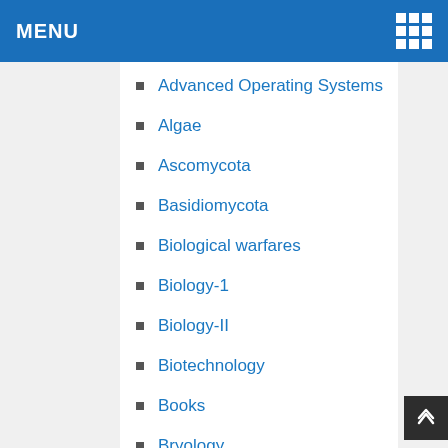MENU
Advanced Operating Systems
Algae
Ascomycota
Basidiomycota
Biological warfares
Biology-1
Biology-II
Biotechnology
Books
Bryology
Career Counsling
College Admissions
Computer Science
ERCC U30...